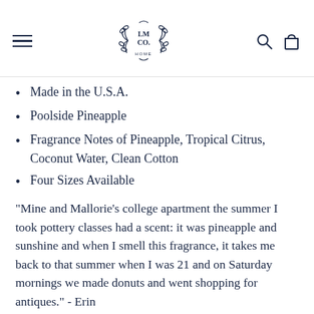LM CO HOME
Made in the U.S.A.
Poolside Pineapple
Fragrance Notes of Pineapple, Tropical Citrus, Coconut Water, Clean Cotton
Four Sizes Available
"Mine and Mallorie's college apartment the summer I took pottery classes had a scent: it was pineapple and sunshine and when I smell this fragrance, it takes me back to that summer when I was 21 and on Saturday mornings we made donuts and went shopping for antiques." - Erin
Made in the U.S.A. Soy wax. Select Burn Guarantee and